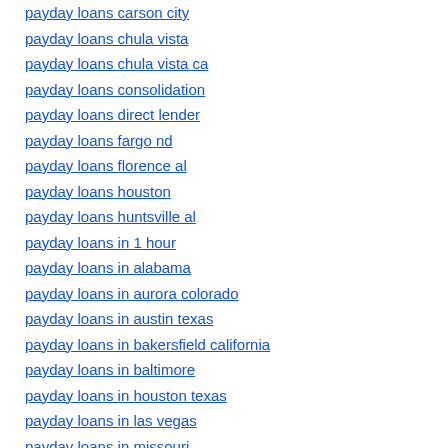payday loans carson city
payday loans chula vista
payday loans chula vista ca
payday loans consolidation
payday loans direct lender
payday loans fargo nd
payday loans florence al
payday loans houston
payday loans huntsville al
payday loans in 1 hour
payday loans in alabama
payday loans in aurora colorado
payday loans in austin texas
payday loans in bakersfield california
payday loans in baltimore
payday loans in houston texas
payday loans in las vegas
payday loans in missouri